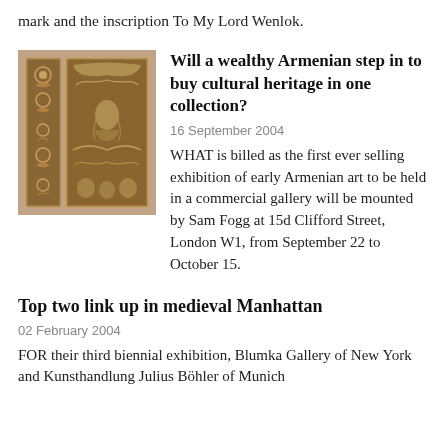mark and the inscription To My Lord Wenlok.
[Figure (photo): Carved stone or ivory decorative panel with intricate Armenian patterns and figures]
Will a wealthy Armenian step in to buy cultural heritage in one collection?
16 September 2004
WHAT is billed as the first ever selling exhibition of early Armenian art to be held in a commercial gallery will be mounted by Sam Fogg at 15d Clifford Street, London W1, from September 22 to October 15.
Top two link up in medieval Manhattan
02 February 2004
FOR their third biennial exhibition, Blumka Gallery of New York and Kunsthandlung Julius Böhler of Munich